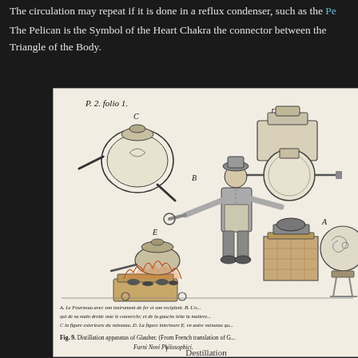The circulation may repeat if it is done in a reflux condenser, such as the Pe...
The Pelican is the Symbol of the Heart Chakra the connector between the Triangle of the Body.
[Figure (illustration): Historical engraving of a distillation apparatus of Glauber, labeled P.2. Folio 1. Shows items labeled A through E: A furnace with iron instruments and recipient, B a figure of a man operating the apparatus with right hand lifting a cover and left hand pouring matter, C a flask/retort vessel, D the exterior figure of the vessel, E another vessel on a fire. Caption reads: Fig. 9. Distillation apparatus of Glauber. (From French translation of Furni Novi Philosophici.)]
Destillation